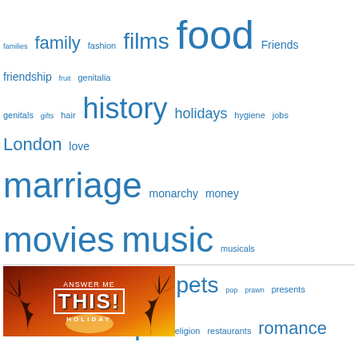[Figure (infographic): Tag cloud with words of varying sizes in blue, representing topics: families, family, fashion, films, food, Friends, friendship, fruit, genitalia, genitals, gifts, hair, history, holidays, hygiene, jobs, London, love, marriage, monarchy, money, movies, music, musicals, names, neighbours, parents, pets, pop, prawn, presents, relationships, religion, restaurants, romance, royalty, school, sex, shopping, songs, sport, Squarespace, telly, theatre, the Queen, Thursday Listening Party, toys, TV, USA, weddings, yuk]
[Figure (photo): Banner image for 'Answer Me This! Holiday' showing tropical sunset with palm trees silhouette and orange/yellow sky, with bold white text overlay]